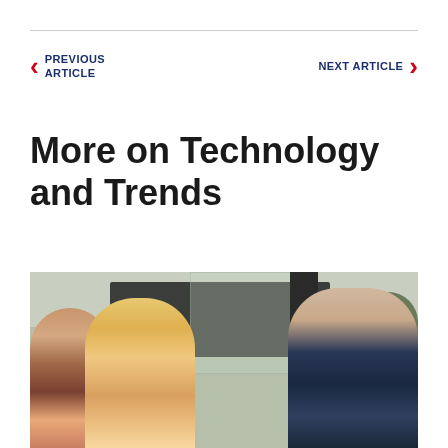PREVIOUS ARTICLE
NEXT ARTICLE
More on Technology and Trends
[Figure (photo): Three people in conversation outdoors or near large windows, with a dark modern building and trees visible in the background. One man on left in floral shirt, a blonde woman in center in pink top, and a man on right in dark navy shirt.]